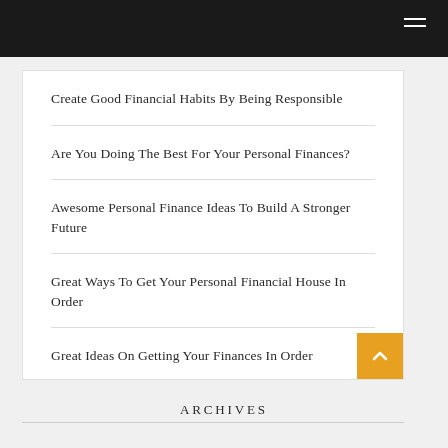Create Good Financial Habits By Being Responsible
Are You Doing The Best For Your Personal Finances?
Awesome Personal Finance Ideas To Build A Stronger Future
Great Ways To Get Your Personal Financial House In Order
Great Ideas On Getting Your Finances In Order
ARCHIVES